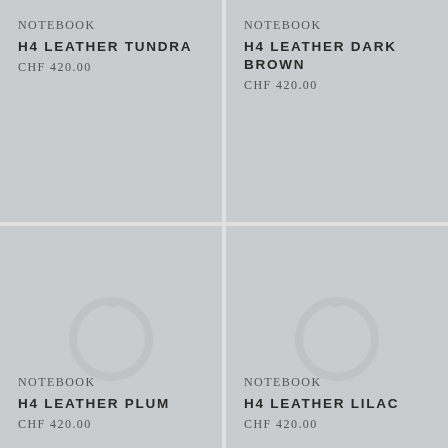NOTEBOOK
H4 LEATHER TUNDRA
CHF 420.00
[Figure (logo): Circular snake/ouroboros logo with letter H in center - Hermes brand mark, top-left product cell (cropped, partial view)]
NOTEBOOK
H4 LEATHER DARK BROWN
CHF 420.00
[Figure (logo): Circular snake/ouroboros logo with letter H in center - Hermes brand mark, top-right product cell]
[Figure (logo): Circular snake/ouroboros logo with letter H in center - Hermes brand mark, bottom-left product cell]
NOTEBOOK
H4 LEATHER PLUM
CHF 420.00
[Figure (logo): Circular snake/ouroboros logo with letter H in center - Hermes brand mark, bottom-right product cell]
NOTEBOOK
H4 LEATHER LILAC
CHF 420.00